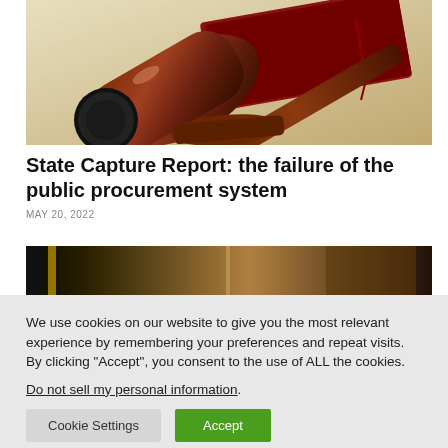[Figure (photo): A wooden judge's gavel resting on a sound block, with a book in the background — legal/judicial imagery]
State Capture Report: the failure of the public procurement system
MAY 20, 2022
[Figure (photo): Partial view of a second article image — dark wooden/interior scene, partially obscured by cookie banner]
We use cookies on our website to give you the most relevant experience by remembering your preferences and repeat visits. By clicking "Accept", you consent to the use of ALL the cookies.
Do not sell my personal information.